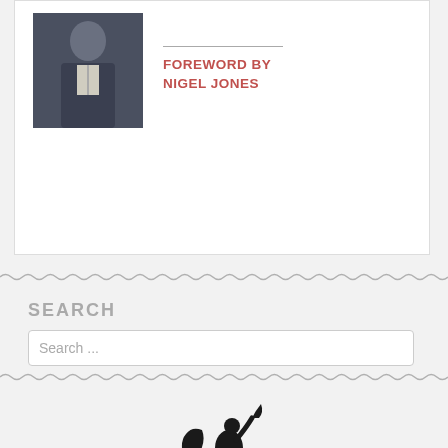[Figure (photo): Book cover card showing a man in a dark suit with foreword credit. Contains a portrait photo of a man and text 'FOREWORD BY NIGEL JONES' in red capitals.]
FOREWORD BY NIGEL JONES
SEARCH
[Figure (photo): Black and white image of an equestrian statue showing a rider on a rearing horse, dark silhouette style.]